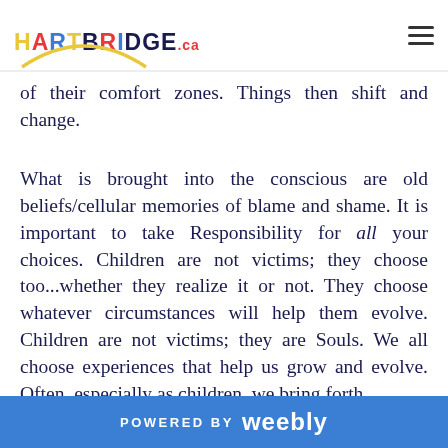HARTBRIDGE.ca
of their comfort zones. Things then shift and change.
What is brought into the conscious are old beliefs/cellular memories of blame and shame. It is important to take Responsibility for all your choices. Children are not victims; they choose too...whether they realize it or not. They choose whatever circumstances will help them evolve. Children are not victims; they are Souls. We all choose experiences that help us grow and evolve. Often, especially as children, we bring forth
POWERED BY weebly